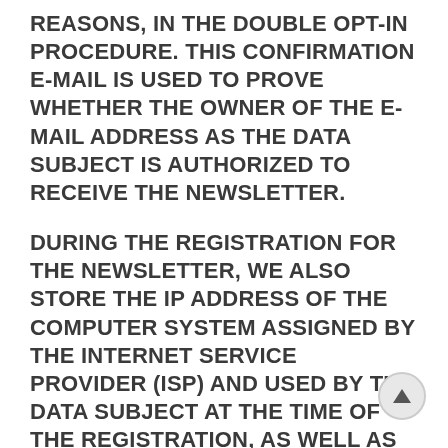REASONS, IN THE DOUBLE OPT-IN PROCEDURE. THIS CONFIRMATION E-MAIL IS USED TO PROVE WHETHER THE OWNER OF THE E-MAIL ADDRESS AS THE DATA SUBJECT IS AUTHORIZED TO RECEIVE THE NEWSLETTER.
DURING THE REGISTRATION FOR THE NEWSLETTER, WE ALSO STORE THE IP ADDRESS OF THE COMPUTER SYSTEM ASSIGNED BY THE INTERNET SERVICE PROVIDER (ISP) AND USED BY THE DATA SUBJECT AT THE TIME OF THE REGISTRATION, AS WELL AS THE DATE AND TIME OF THE REGISTRATION. THE